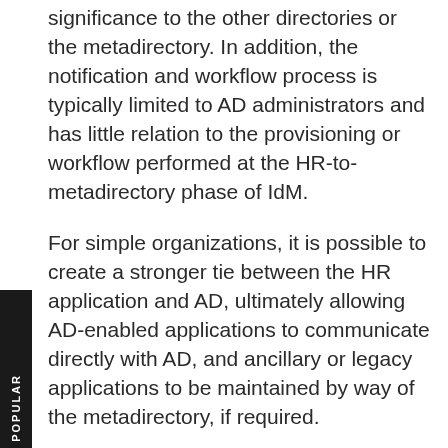significance to the other directories or the metadirectory. In addition, the notification and workflow process is typically limited to AD administrators and has little relation to the provisioning or workflow performed at the HR-to-metadirectory phase of IdM.
For simple organizations, it is possible to create a stronger tie between the HR application and AD, ultimately allowing AD-enabled applications to communicate directly with AD, and ancillary or legacy applications to be maintained by way of the metadirectory, if required.
For the IT administrator, this means fewer moving parts, with AD serving as the primary directory. It also means:
Independence from metadirectory